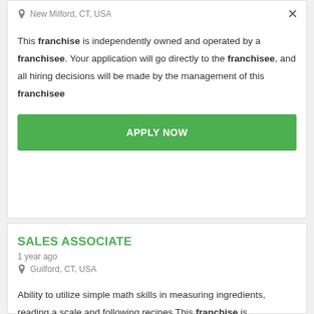New Milford, CT, USA
This franchise is independently owned and operated by a franchisee. Your application will go directly to the franchisee, and all hiring decisions will be made by the management of this franchisee
[Figure (other): Green APPLY NOW button]
SALES ASSOCIATE
1 year ago
Guilford, CT, USA
Ability to utilize simple math skills in measuring ingredients, reading a scale and following recipes This franchise is independently owned and operated by a franchisee. Your application will go